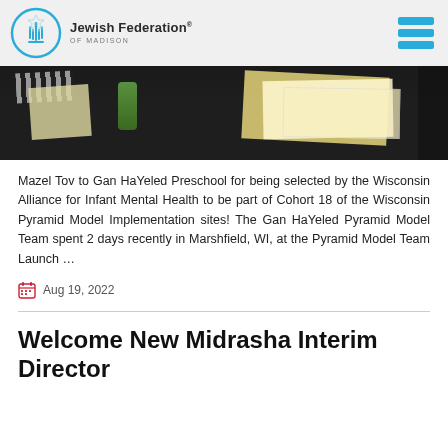Jewish Federation® OF MADISON
[Figure (photo): Photo of a table with papers, documents, a green soda can, and other items on a dark tablecloth.]
Mazel Tov to Gan HaYeled Preschool for being selected by the Wisconsin Alliance for Infant Mental Health to be part of Cohort 18 of the Wisconsin Pyramid Model Implementation sites! The Gan HaYeled Pyramid Model Team spent 2 days recently in Marshfield, WI, at the Pyramid Model Team Launch …
Aug 19, 2022
Welcome New Midrasha Interim Director